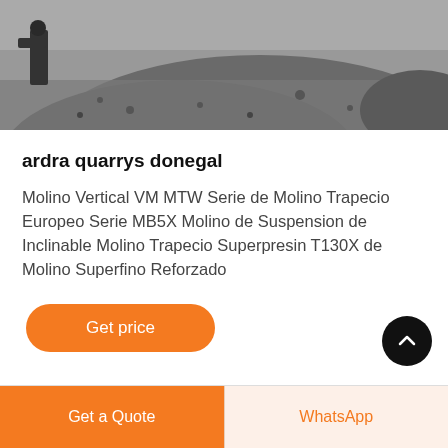[Figure (photo): Black and white photo of a quarry with gravel/stone pile and machinery/person visible]
[Figure (other): Live Chat speech bubble icon in teal/dark blue color with white text 'LIVE CHAT']
ardra quarrys donegal
Molino Vertical VM MTW Serie de Molino Trapecio Europeo Serie MB5X Molino de Suspension de Inclinable Molino Trapecio Superpresin T130X de Molino Superfino Reforzado
Get price
[Figure (other): Black circular scroll-to-top button with upward chevron icon]
Get a Quote
WhatsApp